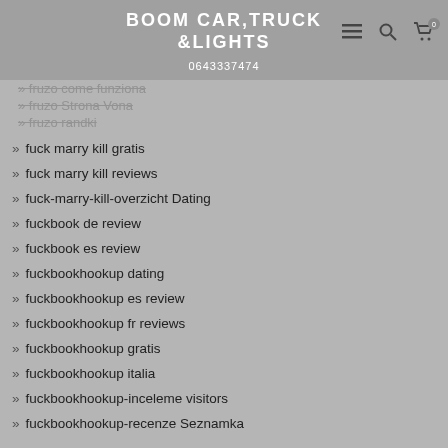BOOM CAR,TRUCK &LIGHTS 0643337474
fruzo come funziona
fruzo Strona Vona
fruzo randki
fuck marry kill gratis
fuck marry kill reviews
fuck-marry-kill-overzicht Dating
fuckbook de review
fuckbook es review
fuckbookhookup dating
fuckbookhookup es review
fuckbookhookup fr reviews
fuckbookhookup gratis
fuckbookhookup italia
fuckbookhookup-inceleme visitors
fuckbookhookup-recenze Seznamka